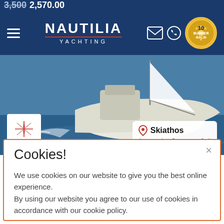[Figure (screenshot): Nautilia Yachting website screenshot showing navigation bar with hamburger menu, logo, email/phone icons, and Summer Sale badge]
[Figure (photo): Sailing yacht (Jeanneau Sun Odyssey 439) underway on blue water, viewed from stern quarter]
Bareboat Monohull
Rent Sun Odusseu 439 (2015)
Cookies!

We use cookies on our website to give you the best online experience.
By using our website you agree to our use of cookies in accordance with our cookie policy.

OK